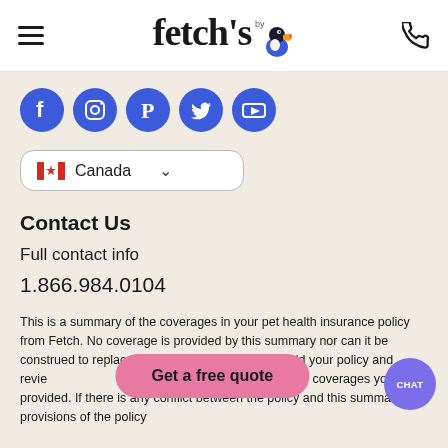fetch's by [logo with toucan bird]
[Figure (logo): Fetch pet insurance logo with toucan bird icon and hamburger menu and phone icon in white nav bar]
[Figure (infographic): Row of 5 social media icons (Facebook, Instagram, Pinterest, Twitter, YouTube) as blue circles with white icons]
[Figure (infographic): Country selector dropdown showing Canadian flag and text 'Canada' with chevron]
Contact Us
Full contact info
1.866.984.0104
This is a summary of the coverages in your pet health insurance policy from Fetch. No coverage is provided by this summary nor can it be construed to replace You should your policy and revie complete information on the coverages you are provided. If there is any conflict between the policy and this summary, the provisions of the policy